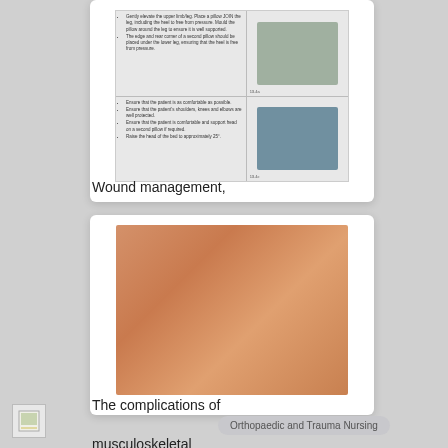[Figure (illustration): Thumbnail of a medical document page showing patient positioning instructions with small clinical photos of a patient on a leg support/pillow device, with bullet point text instructions]
Wound management, tissueviability and infection
[Figure (photo): Close-up photograph of skin tissue showing a skin-toned/peach colored area, likely depicting a wound or skin condition related to musculoskeletal and trauma complications]
The complications of musculoskeletal and trauma
Orthopaedic and Trauma Nursing